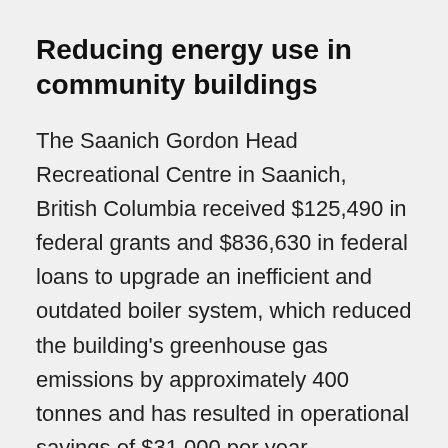Reducing energy use in community buildings
The Saanich Gordon Head Recreational Centre in Saanich, British Columbia received $125,490 in federal grants and $836,630 in federal loans to upgrade an inefficient and outdated boiler system, which reduced the building's greenhouse gas emissions by approximately 400 tonnes and has resulted in operational savings of $31,000 per year.